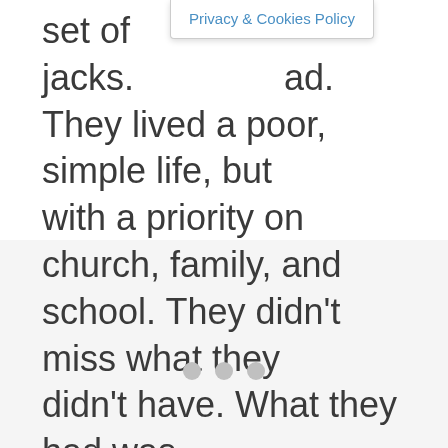set of jacks. ad. They lived a poor, simple life, but with a priority on church, family, and school. They didn't miss what they didn't have. What they had was enough.
Privacy & Cookies Policy
[Figure (other): Three light gray dots indicating a loading state or pagination indicator on a light gray background section]